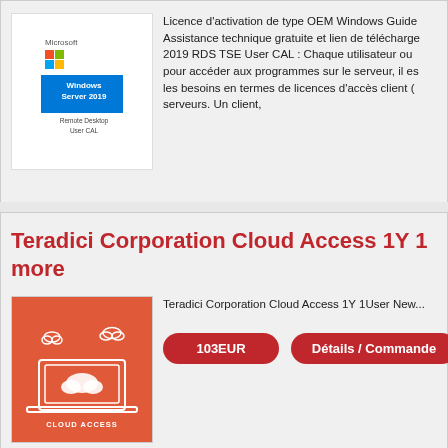[Figure (illustration): Microsoft Windows Server 2019 Remote Desktop User CAL product box image]
Licence d'activation de type OEM Windows Guide... Assistance technique gratuite et lien de télécharge... 2019 RDS TSE User CAL : Chaque utilisateur ou... pour accéder aux programmes sur le serveur, il es... les besoins en termes de licences d'accès client (... serveurs. Un client,
3518.04EUR
Détails / Commande
Teradici Corporation Cloud Access 1Y 1... more
[Figure (illustration): Teradici Cloud Access product image on orange background with laptop and cloud icons]
Teradici Corporation Cloud Access 1Y 1User New...
103EUR
Détails / Commande